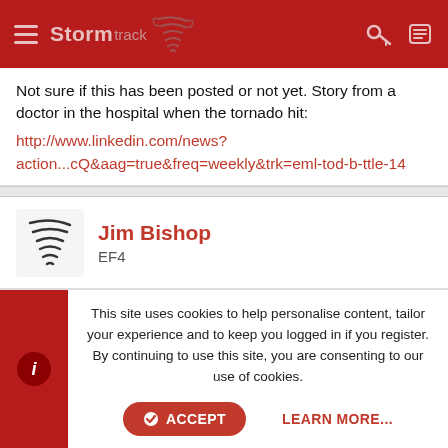Stormtrack [navigation bar]
Not sure if this has been posted or not yet. Story from a doctor in the hospital when the tornado hit:
http://www.linkedin.com/news?action...cQ&aag=true&freq=weekly&trk=eml-tod-b-ttle-14
Jim Bishop
EF4
Jun 6, 2011   #297
This site uses cookies to help personalise content, tailor your experience and to keep you logged in if you register.
By continuing to use this site, you are consenting to our use of cookies.

ACCEPT   LEARN MORE...